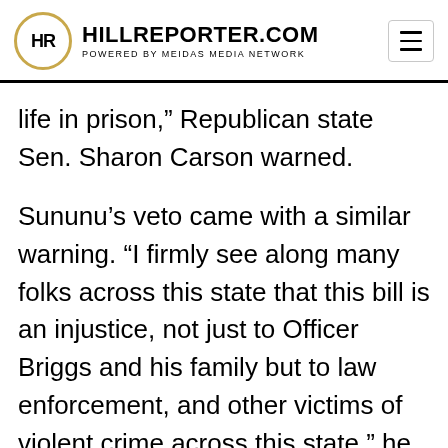HR HILLREPORTER.COM POWERED BY MEIDAS MEDIA NETWORK
life in prison,” Republican state Sen. Sharon Carson warned.
Sununu’s veto came with a similar warning. “I firmly see along many folks across this state that this bill is an injustice, not just to Officer Briggs and his family but to law enforcement, and other victims of violent crime across this state,” he said, according to New Hampshire